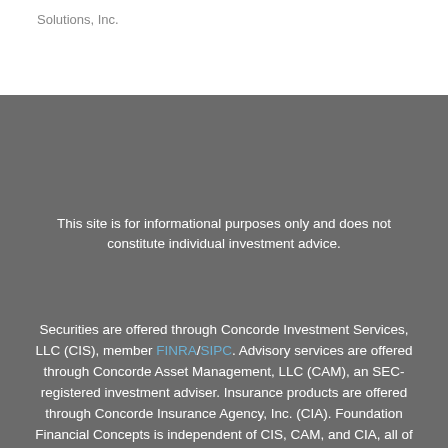Solutions, Inc.
This site is for informational purposes only and does not constitute individual investment advice.
Securities are offered through Concorde Investment Services, LLC (CIS), member FINRA/SIPC. Advisory services are offered through Concorde Asset Management, LLC (CAM), an SEC-registered investment adviser. Insurance products are offered through Concorde Insurance Agency, Inc. (CIA). Foundation Financial Concepts is independent of CIS, CAM, and CIA, all of whom are unaffiliated with third-party sites, cannot verify the accuracy of, nor assume responsibility for any content of linked third-party sites. Information available on third-party sites is for